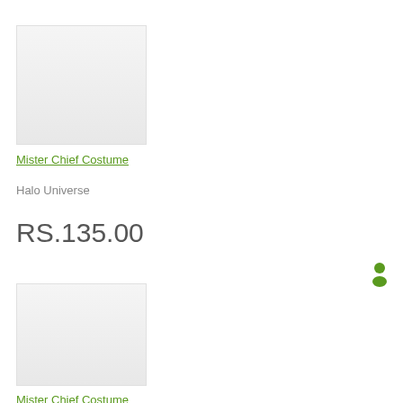[Figure (photo): Product image placeholder - light gray rectangle for Mister Chief Costume (first)]
Mister Chief Costume
Halo Universe
RS.135.00
[Figure (photo): Product image placeholder - light gray rectangle for Mister Chief Costume (second)]
[Figure (illustration): Small green person/figure icon]
Mister Chief Costume